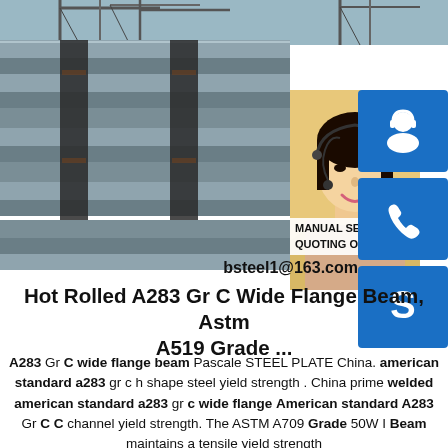[Figure (photo): Hot rolled steel plates stacked and bundled with metal straps, with a crane visible in the background. Overlaid with a photo of a smiling woman with a headset, blue contact icon buttons (chat, phone, Skype), and text overlay showing 'MANUAL SE', 'QUOTING O', 'bsteel1@163.com'.]
Hot Rolled A283 Gr C Wide Flange Beam, Astm A519 Grade ...
A283 Gr C wide flange beam Pascale STEEL PLATE China. american standard a283 gr c h shape steel yield strength . China prime welded american standard a283 gr c wide flange American standard A283 Gr C C channel yield strength. The ASTM A709 Grade 50W I Beam maintains a tensile yield strength